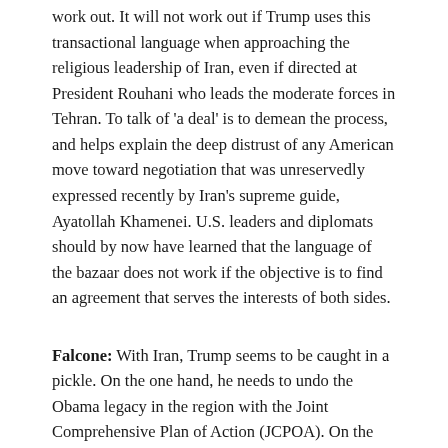work out. It will not work out if Trump uses this transactional language when approaching the religious leadership of Iran, even if directed at President Rouhani who leads the moderate forces in Tehran. To talk of 'a deal' is to demean the process, and helps explain the deep distrust of any American move toward negotiation that was unreservedly expressed recently by Iran's supreme guide, Ayatollah Khamenei. U.S. leaders and diplomats should by now have learned that the language of the bazaar does not work if the objective is to find an agreement that serves the interests of both sides.
Falcone: With Iran, Trump seems to be caught in a pickle. On the one hand, he needs to undo the Obama legacy in the region with the Joint Comprehensive Plan of Action (JCPOA). On the other hand, he runs the risk of looking like a neoconservative. What's going on in your estimation?
Falk: I think you are correct in sensing the conflicting